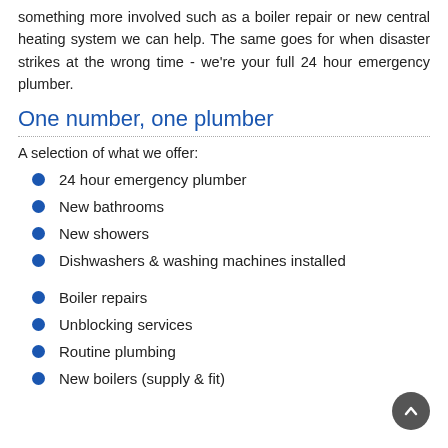something more involved such as a boiler repair or new central heating system we can help. The same goes for when disaster strikes at the wrong time - we're your full 24 hour emergency plumber.
One number, one plumber
A selection of what we offer:
24 hour emergency plumber
New bathrooms
New showers
Dishwashers & washing machines installed
Boiler repairs
Unblocking services
Routine plumbing
New boilers (supply & fit)